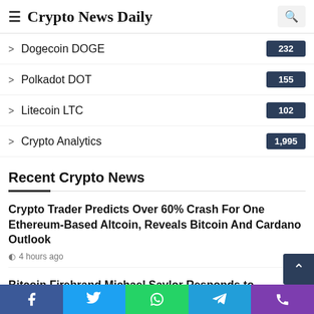Crypto News Daily
Dogecoin DOGE  232
Polkadot DOT  155
Litecoin LTC  102
Crypto Analytics  1,995
Recent Crypto News
Crypto Trader Predicts Over 60% Crash For One Ethereum-Based Altcoin, Reveals Bitcoin And Cardano Outlook
4 hours ago
Bitcoin Firebrand Michael Saylor Responds to Washington DC Tax Fraud Allegations
4 hours ago